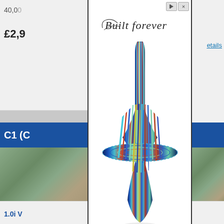40,0
£2,9
etails
C1 (C
1.0i V
[Figure (photo): Background screenshot of a car listing website showing partial price '£2,9', text '40,0', a blue bar with 'C1 (C', a car image, and '1.0i V' text, with outdoor background car images]
[Figure (illustration): Advertisement overlay showing a colorful iridescent spinning top with blue, teal, purple and yellow stripes in a 4-pointed star/rhombus shape, with 'Built Forever' cursive script logo at top, on white background]